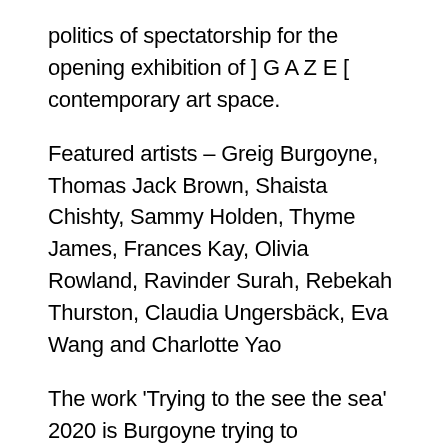politics of spectatorship for the opening exhibition of ] G A Z E [ contemporary art space.
Featured artists – Greig Burgoyne, Thomas Jack Brown, Shaista Chishty, Sammy Holden, Thyme James, Frances Kay, Olivia Rowland, Ravinder Surah, Rebekah Thurston, Claudia Ungersbäck, Eva Wang and Charlotte Yao
The work 'Trying to the see the sea' 2020 is Burgoyne trying to